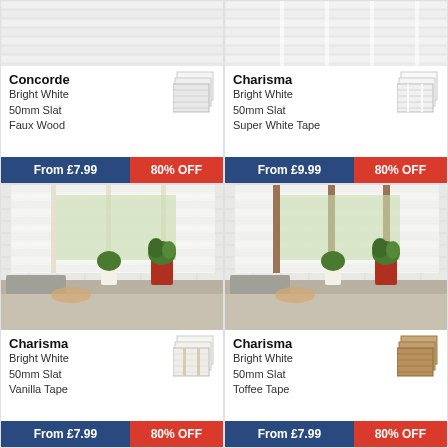[Figure (photo): Concorde Bright White 50mm Slat Faux Wood blind product photo with swatch - top portion cropped]
Concorde
Bright White
50mm Slat
Faux Wood
From £7.99  80% OFF
[Figure (photo): Charisma Bright White 50mm Slat Super White Tape blind product photo with swatch - top portion cropped]
Charisma
Bright White
50mm Slat
Super White Tape
From £9.99  80% OFF
[Figure (photo): Charisma Bright White 50mm Slat Vanilla Tape blind in kitchen window setting]
Charisma
Bright White
50mm Slat
Vanilla Tape
From [price]  80% OFF
[Figure (photo): Charisma Bright White 50mm Slat Toffee Tape blind in kitchen window setting with brown tape cords]
Charisma
Bright White
50mm Slat
Toffee Tape
From [price]  80% OFF